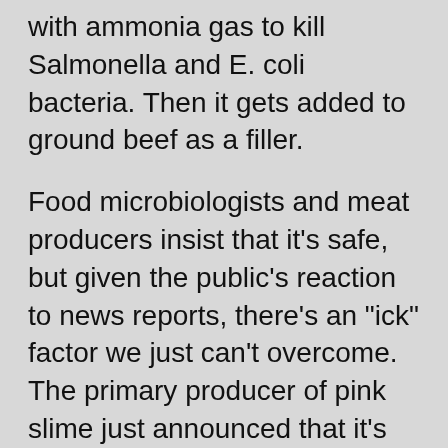with ammonia gas to kill Salmonella and E. coli bacteria. Then it gets added to ground beef as a filler.
Food microbiologists and meat producers insist that it's safe, but given the public's reaction to news reports, there's an "ick" factor we just can't overcome. The primary producer of pink slime just announced that it's closing three of the plants where pink slime is produced, and Kroger, Safeway, Food Lion, McDonald's and the National School Lunch Program (among others) have all pulled it from their product offerings.
Eat this instead: Organic ground beef is prohibited from containing pink slime, per National Organic Program standards, so it's your safest bet. If you can't find organic, ask the butcher at your grocery store whether their products contain the pink slime.